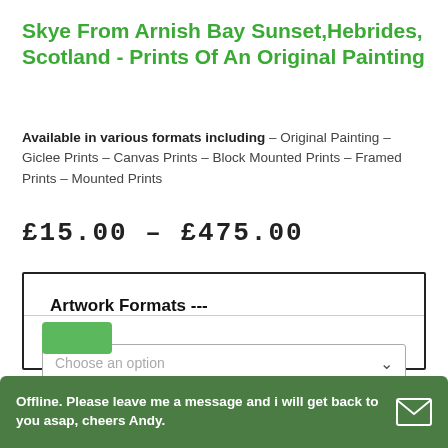Skye From Arnish Bay Sunset,Hebrides, Scotland - Prints Of An Original Painting
Available in various formats including – Original Painting – Giclee Prints – Canvas Prints – Block Mounted Prints – Framed Prints – Mounted Prints
£15.00 – £475.00
Artwork Formats ---
Choose an option
Offline. Please leave me a message and i will get back to you asap, cheers Andy.